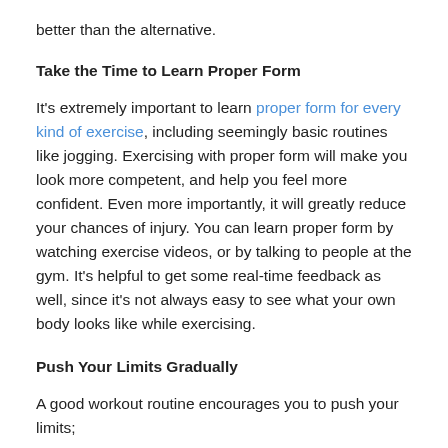better than the alternative.
Take the Time to Learn Proper Form
It's extremely important to learn proper form for every kind of exercise, including seemingly basic routines like jogging. Exercising with proper form will make you look more competent, and help you feel more confident. Even more importantly, it will greatly reduce your chances of injury. You can learn proper form by watching exercise videos, or by talking to people at the gym. It's helpful to get some real-time feedback as well, since it's not always easy to see what your own body looks like while exercising.
Push Your Limits Gradually
A good workout routine encourages you to push your limits;